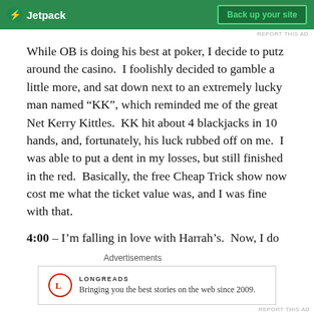[Figure (screenshot): Jetpack advertisement banner — green background with Jetpack logo and 'Back up your site' button]
REPORT THIS AD
While OB is doing his best at poker, I decide to putz around the casino.  I foolishly decided to gamble a little more, and sat down next to an extremely lucky man named “KK”, which reminded me of the great Net Kerry Kittles.  KK hit about 4 blackjacks in 10 hands, and, fortunately, his luck rubbed off on me.  I was able to put a dent in my losses, but still finished in the red.  Basically, the free Cheap Trick show now cost me what the ticket value was, and I was fine with that.
4:00 – I’m falling in love with Harrah’s.  Now, I do not get paid to write this (despite my best efforts).  I must say:
Advertisements
[Figure (screenshot): Longreads advertisement — logo circle with L, text: Bringing you the best stories on the web since 2009.]
REPORT THIS AD